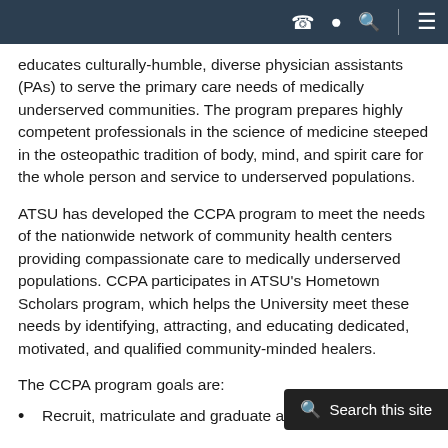[Navigation bar with phone, location, search icons and hamburger menu]
educates culturally-humble, diverse physician assistants (PAs) to serve the primary care needs of medically underserved communities. The program prepares highly competent professionals in the science of medicine steeped in the osteopathic tradition of body, mind, and spirit care for the whole person and service to underserved populations.
ATSU has developed the CCPA program to meet the needs of the nationwide network of community health centers providing compassionate care to medically underserved populations. CCPA participates in ATSU's Hometown Scholars program, which helps the University meet these needs by identifying, attracting, and educating dedicated, motivated, and qualified community-minded healers.
The CCPA program goals are:
Recruit, matriculate and graduate a
[Figure (screenshot): Search overlay popup with magnifying glass icon and 'Search this site' text on dark background]